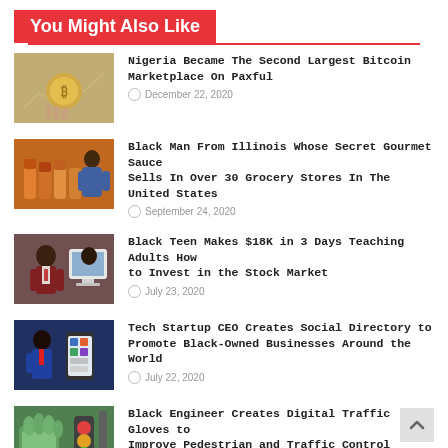You Might Also Like
Nigeria Became The Second Largest Bitcoin Marketplace On Paxful — December 22, 2020
Black Man From Illinois Whose Secret Gourmet Sauce Sells In Over 30 Grocery Stores In The United States — September 24, 2020
Black Teen Makes $18K in 3 Days Teaching Adults How to Invest in the Stock Market — July 23, 2020
Tech Startup CEO Creates Social Directory to Promote Black-Owned Businesses Around the World — July 22, 2020
Black Engineer Creates Digital Traffic Gloves to Improve Pedestrian and Traffic Control Safety